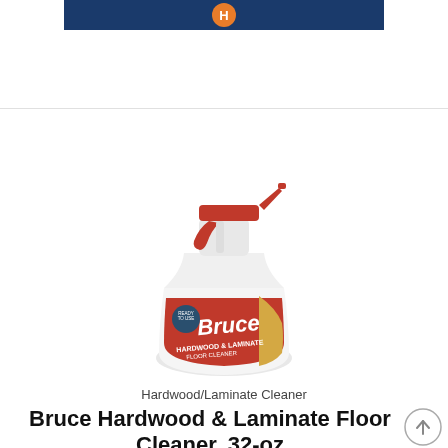[Figure (other): Top navigation banner with dark blue background and orange circle icon with 'H' letter]
[Figure (photo): Bruce Hardwood & Laminate Floor Cleaner spray bottle with red trigger, white body, and red/gold label showing 'Bruce Hardwood & Laminate Floor Cleaner']
Hardwood/Laminate Cleaner
Bruce Hardwood & Laminate Floor Cleaner, 32-oz Spray